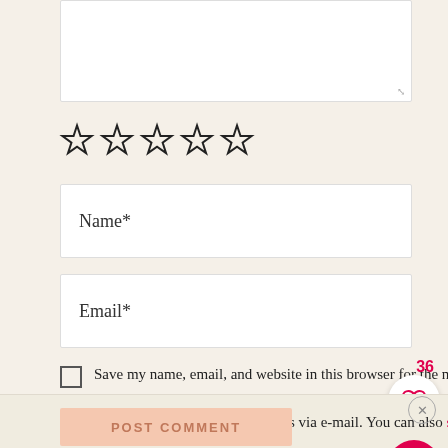[Figure (other): Star rating row with 5 empty outline stars]
Name*
Email*
Save my name, email, and website in this browser for the next time I comment.
Notify me of followup comments via e-mail. You can also subscribe without commenting.
POST COMMENT